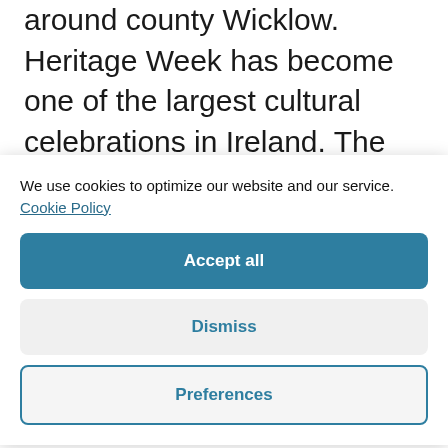around county Wicklow. Heritage Week has become one of the largest cultural celebrations in Ireland. The majority of events are organised by volunteers and enthusiasts and the vast
We use cookies to optimize our website and our service. Cookie Policy
Accept all
Dismiss
Preferences
wildlife diversity and managed by, trusted to and